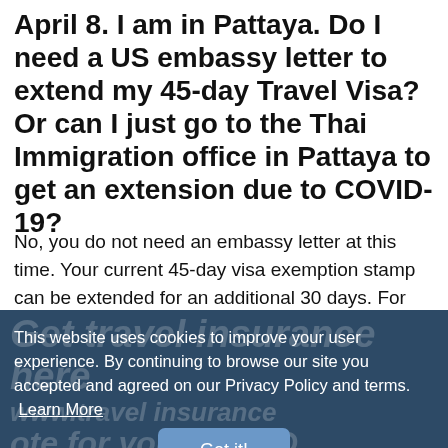April 8. I am in Pattaya. Do I need a US embassy letter to extend my 45-day Travel Visa? Or can I just go to the Thai Immigration office in Pattaya to get an extension due to COVID-19?
No, you do not need an embassy letter at this time. Your current 45-day visa exemption stamp can be extended for an additional 30 days. For the extension, you just have to submit one passport size photo (4cm x 6cm) with white background, TM6 card, TM30 receipt from your hotel and pay the fee of 1,900 Thai baht.
[Figure (other): Dark blue banner with faded large italic text advertising travel insurance and COVID insurance for Thailand, overlaid with a cookie consent notice.]
This website uses cookies to improve your user experience. By continuing to browse our site you accepted and agreed on our Privacy Policy and terms. Learn More